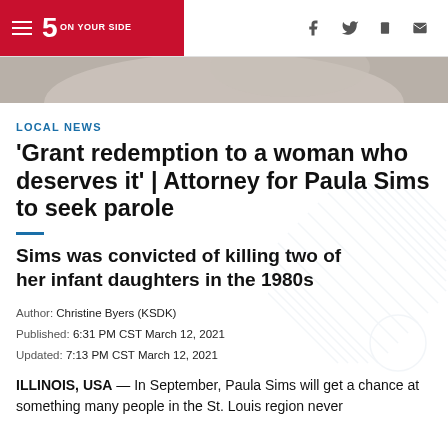5 ON YOUR SIDE — navigation bar with hamburger menu and social icons
[Figure (photo): Partial photo of a woman, greyscale, cropped as a strip at top of page]
LOCAL NEWS
'Grant redemption to a woman who deserves it' | Attorney for Paula Sims to seek parole
Sims was convicted of killing two of her infant daughters in the 1980s
Author: Christine Byers (KSDK)
Published: 6:31 PM CST March 12, 2021
Updated: 7:13 PM CST March 12, 2021
ILLINOIS, USA — In September, Paula Sims will get a chance at something many people in the St. Louis region never